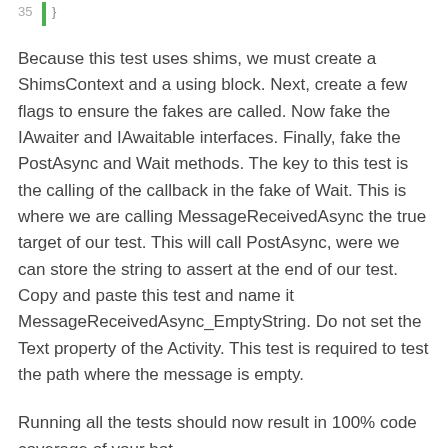35 | }
Because this test uses shims, we must create a ShimsContext and a using block. Next, create a few flags to ensure the fakes are called. Now fake the IAwaiter and IAwaitable interfaces. Finally, fake the PostAsync and Wait methods. The key to this test is the calling of the callback in the fake of Wait. This is where we are calling MessageReceivedAsync the true target of our test. This will call PostAsync, were we can store the string to assert at the end of our test. Copy and paste this test and name it MessageReceivedAsync_EmptyString. Do not set the Text property of the Activity. This test is required to test the path where the message is empty.
Running all the tests should now result in 100% code coverage of your bot.